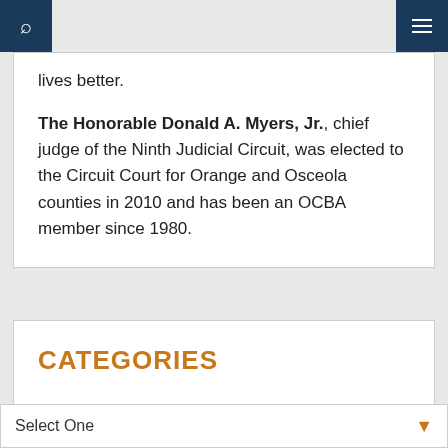lives better.
The Honorable Donald A. Myers, Jr., chief judge of the Ninth Judicial Circuit, was elected to the Circuit Court for Orange and Osceola counties in 2010 and has been an OCBA member since 1980.
CATEGORIES
Select One